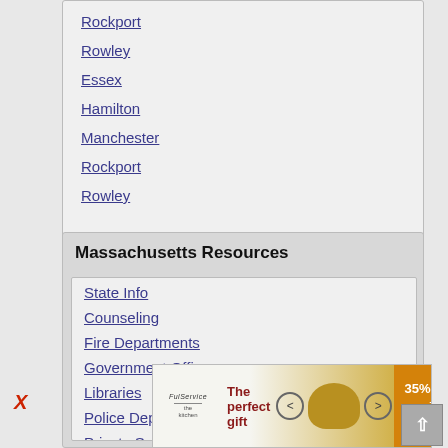Rockport
Rowley
Essex
Hamilton
Manchester
Rockport
Rowley
Massachusetts Resources
State Info
Counseling
Fire Departments
Government Offices
Libraries
Police Departments
Private Schools
Co...